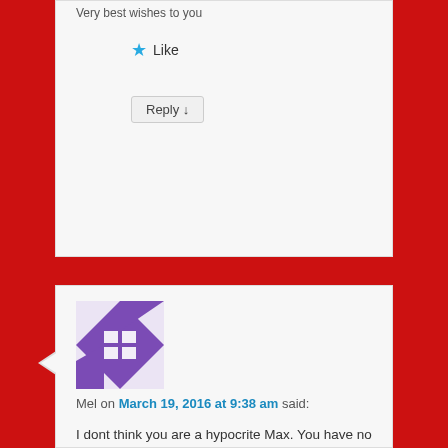Very best wishes to you
Like
Reply ↓
[Figure (illustration): Purple and white geometric avatar for user Mel]
Mel on March 19, 2016 at 9:38 am said:
I dont think you are a hypocrite Max. You have no choice as to what you are born into. The choices come later; and at a young age you made yours. The choice to think about how to organise the world differently, in a fairer way.
You didnt have to come from Soweto to know that apartheid was abhorent.
I remember at school in 1980s Liverpool, when everyone was trying to outdo each other with their working class credentials. Mat Redmond, he of the